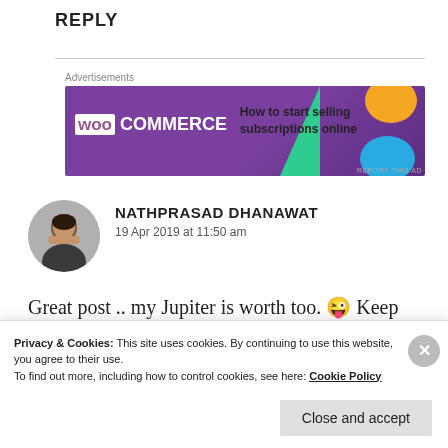REPLY
[Figure (illustration): WooCommerce advertisement banner: purple background with WooCommerce logo, green triangle shape, orange and blue blobs, text 'How to start selling subscriptions online']
NATHPRASAD DHANAWAT
19 Apr 2019 at 11:50 am
Great post .. my Jupiter is worth too. 😜 Keep writing
Privacy & Cookies: This site uses cookies. By continuing to use this website, you agree to their use.
To find out more, including how to control cookies, see here: Cookie Policy
Close and accept